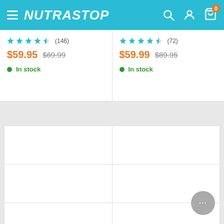NUTRASTOP - Navigation header with hamburger menu, search, account, and cart icons (0 items)
★★★★½ (146) $59.95 $69.99 In stock
★★★★½ (72) $59.99 $89.95 In stock
[Figure (screenshot): 2x3 grid of empty product card placeholders with white background and light gray borders]